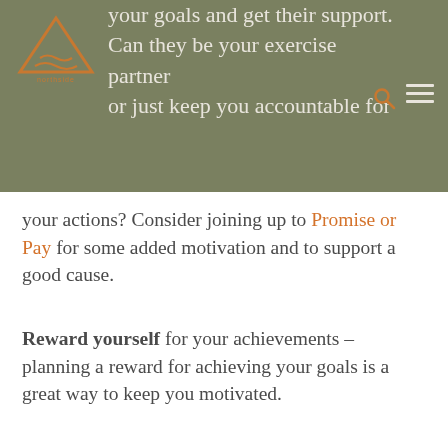your goals and get their support. Can they be your exercise partner or just keep you accountable for
your actions? Consider joining up to Promise or Pay for some added motivation and to support a good cause.
Reward yourself for your achievements – planning a reward for achieving your goals is a great way to keep you motivated.
Remain flexible – expect that your plan can and will change. Often